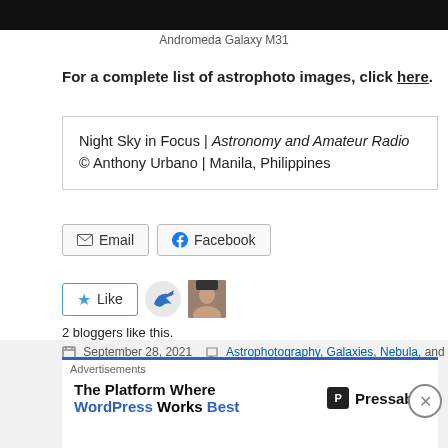[Figure (photo): Dark night sky image strip at top of page (Andromeda Galaxy M31)]
Andromeda Galaxy M31
For a complete list of astrophoto images, click here.
Night Sky in Focus | Astronomy and Amateur Radio
© Anthony Urbano | Manila, Philippines
Email  Facebook
Like  2 bloggers like this.
September 28, 2021  Astrophotography, Galaxies, Nebula, and Star
Advertisements
The Platform Where WordPress Works Best  Pressable